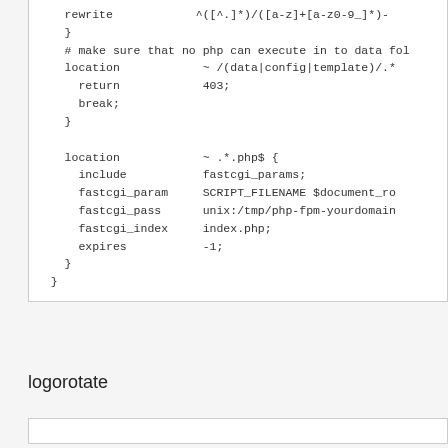rewrite            ^([^.]*)/([a-z]+[a-z0-9_]*)-
    }
    # make sure that no php can execute in to data fol
    location            ~ /(data|config|template)/.*
      return            403;
      break;
    }

    location            ~ .*.php$ {
      include           fastcgi_params;
      fastcgi_param     SCRIPT_FILENAME $document_ro
      fastcgi_pass      unix:/tmp/php-fpm-yourdomain
      fastcgi_index     index.php;
      expires           -1;
    }
  }
logorotate